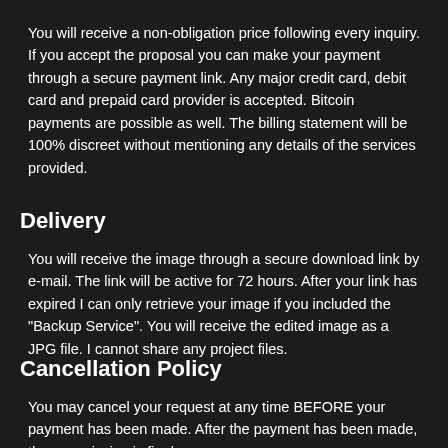You will receive a non-obligation price following every inquiry. If you accept the proposal you can make your payment through a secure payment link. Any major credit card, debit card and prepaid card provider is accepted. Bitcoin payments are possible as well. The billing statement will be 100% discreet without mentioning any details of the services provided.
Delivery
You will receive the image through a secure download link by e-mail. The link will be active for 72 hours. After your link has expired I can only retrieve your image if you included the "Backup Service". You will receive the edited image as a JPG file. I cannot share any project files.
Cancellation Policy
You may cancel your request at any time BEFORE your payment has been made. After the payment has been made, the commission is final and there are no cancellations.